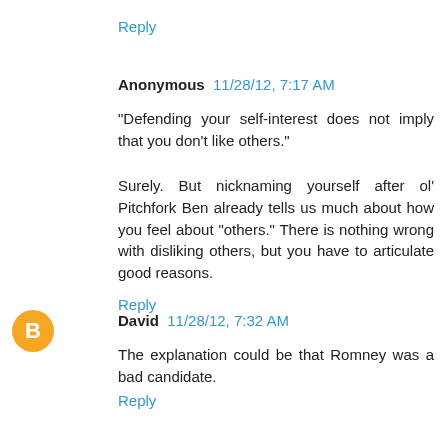Reply
Anonymous  11/28/12, 7:17 AM
"Defending your self-interest does not imply that you don't like others."
Surely. But nicknaming yourself after ol' Pitchfork Ben already tells us much about how you feel about "others." There is nothing wrong with disliking others, but you have to articulate good reasons.
Reply
David  11/28/12, 7:32 AM
The explanation could be that Romney was a bad candidate.
Reply